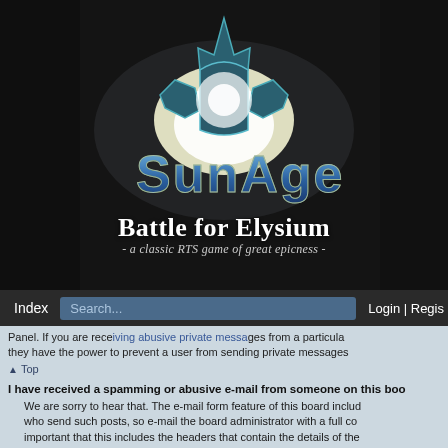[Figure (logo): SunAge: Battle for Elysium game logo - a sci-fi styled metallic crest/crown shape above blue metallic text 'SunAge' on dark background with glowing light behind the emblem]
Battle for Elysium
- a classic RTS game of great epicness -
Index | Search... | Login | Regis...
Panel. If you are receiving abusive private messages from a particular they have the power to prevent a user from sending private messages
Top
I have received a spamming or abusive e-mail from someone on this boa...
We are sorry to hear that. The e-mail form feature of this board includ... who send such posts, so e-mail the board administrator with a full co... important that this includes the headers that contain the details of the... administrator can then take action.
Top